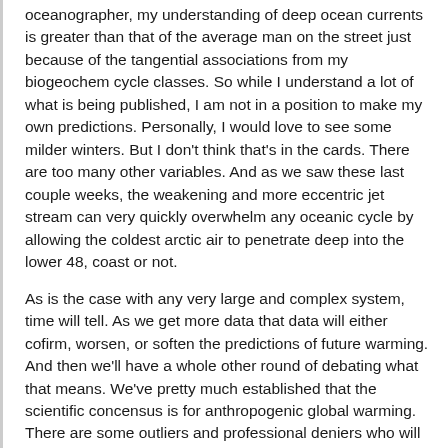oceanographer, my understanding of deep ocean currents is greater than that of the average man on the street just because of the tangential associations from my biogeochem cycle classes. So while I understand a lot of what is being published, I am not in a position to make my own predictions. Personally, I would love to see some milder winters. But I don't think that's in the cards. There are too many other variables. And as we saw these last couple weeks, the weakening and more eccentric jet stream can very quickly overwhelm any oceanic cycle by allowing the coldest arctic air to penetrate deep into the lower 48, coast or not.
As is the case with any very large and complex system, time will tell. As we get more data that data will either cofirm, worsen, or soften the predictions of future warming. And then we'll have a whole other round of debating what that means. We've pretty much established that the scientific concensus is for anthropogenic global warming. There are some outliers and professional deniers who will latch on to any publication or scientist who doesn't agree with the other 99%, but that serves its purpose too. Without opposition the science stagnates, without hardline deniers there would be no reason to strengthen the argument or the conclussions. However, while the professional science community is moving on to solutions rather than discovery or